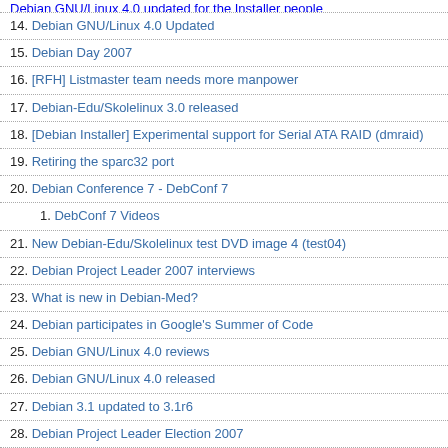14. Debian GNU/Linux 4.0 Updated
15. Debian Day 2007
16. [RFH] Listmaster team needs more manpower
17. Debian-Edu/Skolelinux 3.0 released
18. [Debian Installer] Experimental support for Serial ATA RAID (dmraid)
19. Retiring the sparc32 port
20. Debian Conference 7 - DebConf 7
1. DebConf 7 Videos
21. New Debian-Edu/Skolelinux test DVD image 4 (test04)
22. Debian Project Leader 2007 interviews
23. What is new in Debian-Med?
24. Debian participates in Google's Summer of Code
25. Debian GNU/Linux 4.0 reviews
26. Debian GNU/Linux 4.0 released
27. Debian 3.1 updated to 3.1r6
28. Debian Project Leader Election 2007
29. Debian Installer Etch Release Candidate 2 released
30. Debian GNU/Linux 3.1 updated